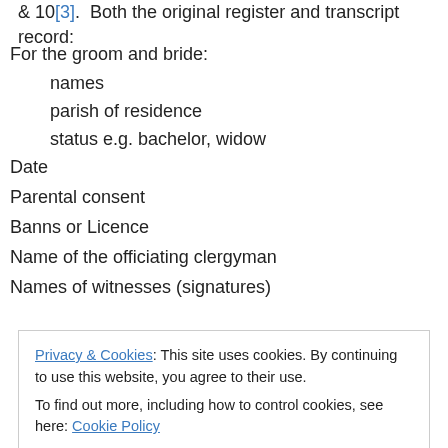& 10[3].  Both the original register and transcript record:
For the groom and bride:
names
parish of residence
status e.g. bachelor, widow
Date
Parental consent
Banns or Licence
Name of the officiating clergyman
Names of witnesses (signatures)
Privacy & Cookies: This site uses cookies. By continuing to use this website, you agree to their use.
To find out more, including how to control cookies, see here: Cookie Policy
form text, abbreviates some terms and names, and